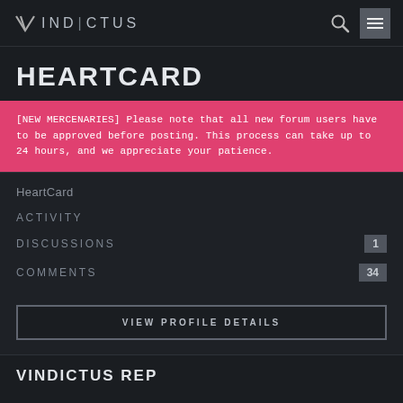VIND|CTUS
HEARTCARD
[NEW MERCENARIES] Please note that all new forum users have to be approved before posting. This process can take up to 24 hours, and we appreciate your patience.
HeartCard
ACTIVITY
DISCUSSIONS 1
COMMENTS 34
VIEW PROFILE DETAILS
VINDICTUS REP